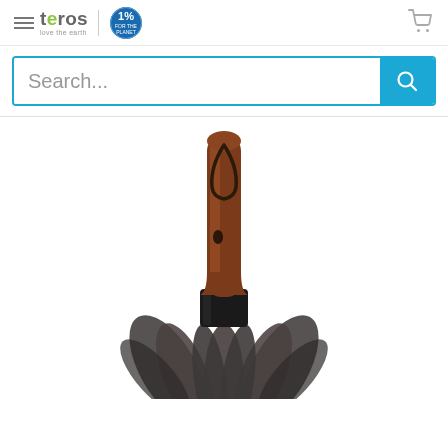teros | love the earth — 1% for the Planet — Navigation and Cart
Search...
[Figure (photo): A feather duster with a polished dark-wood handle and black collar, featuring dark grey ostrich feathers. The duster is viewed from above at close range, showing the handle top with a leather hanging loop and the feathers spreading outward at the bottom.]